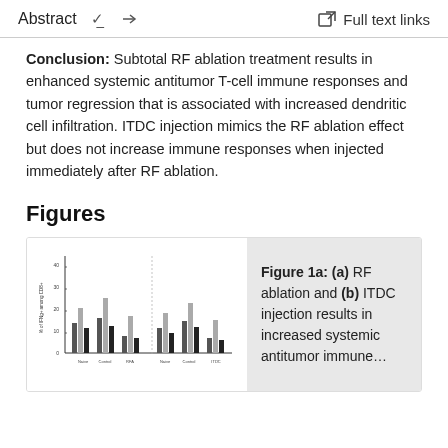Abstract   ˅   Full text links
Conclusion: Subtotal RF ablation treatment results in enhanced systemic antitumor T-cell immune responses and tumor regression that is associated with increased dendritic cell infiltration. ITDC injection mimics the RF ablation effect but does not increase immune responses when injected immediately after RF ablation.
Figures
[Figure (other): Small bar/strip chart figure thumbnail showing RF ablation and ITDC injection experimental results with multiple grouped data points]
Figure 1a: (a) RF ablation and (b) ITDC injection results in increased systemic antitumor immune...